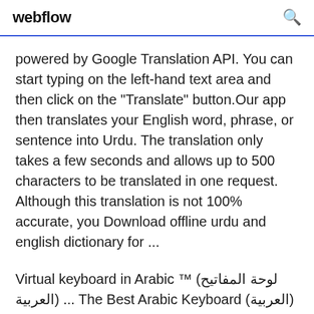webflow
powered by Google Translation API. You can start typing on the left-hand text area and then click on the "Translate" button.Our app then translates your English word, phrase, or sentence into Urdu. The translation only takes a few seconds and allows up to 500 characters to be translated in one request. Although this translation is not 100% accurate, you Download offline urdu and english dictionary for ...
Virtual keyboard in Arabic ™ (لوحة المفاتيح العربية) ... The Best Arabic Keyboard (العربية) on the Internet! Translate, Search the web, Send emails and Share with your friends with this online ...